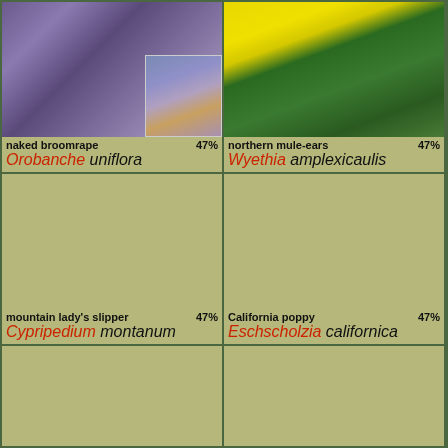[Figure (photo): Close-up photo of naked broomrape (Orobanche uniflora) - purple tubular flowers with a smaller inset photo showing flower detail]
naked broomrape 47% Orobanche uniflora
[Figure (photo): Photo of northern mule-ears (Wyethia amplexicaulis) - large yellow daisy-like flower with green leaves]
northern mule-ears 47% Wyethia amplexicaulis
[Figure (photo): Empty/loading placeholder for mountain lady's slipper]
mountain lady's slipper 47% Cypripedium montanum
[Figure (photo): Empty/loading placeholder for California poppy]
California poppy 47% Eschscholzia californica
[Figure (photo): Empty/loading placeholder bottom left]
[Figure (photo): Empty/loading placeholder bottom right]